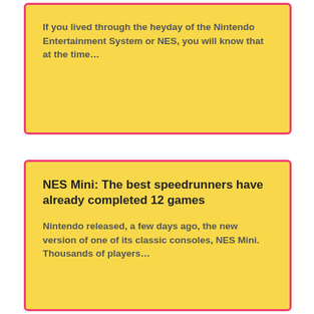If you lived through the heyday of the Nintendo Entertainment System or NES, you will know that at the time…
NES Mini: The best speedrunners have already completed 12 games
Nintendo released, a few days ago, the new version of one of its classic consoles, NES Mini. Thousands of players…